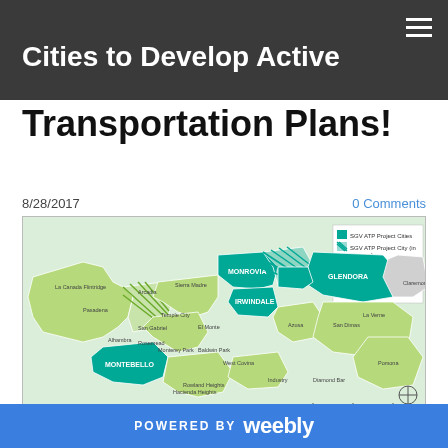Cities to Develop Active Transportation Plans!
Transportation Plans!
8/28/2017
0 Comments
[Figure (map): Map of San Gabriel Valley cities color-coded by bike plan status: SGV ATP Project Cities (teal/solid), SGV ATP Project City (in process) (teal/hatched), Existing Bike Plans (light green), SGV Bike Plan Cities (light green/hatched), No Bike Plans (gray). Notable labeled cities include Monrovia, Irwindale, Glendora, Montebello, and others.]
BikeSGV is VERY excited to report that an ambitious
POWERED BY weebly